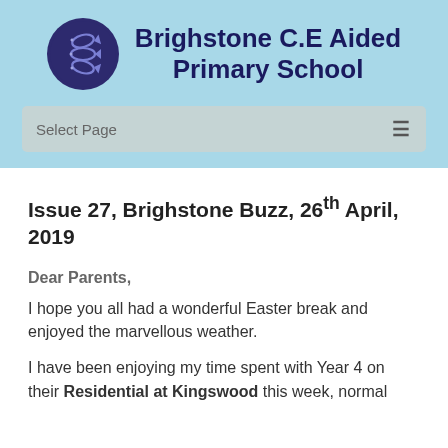Brighstone C.E Aided Primary School
Select Page
Issue 27, Brighstone Buzz, 26th April, 2019
Dear Parents,
I hope you all had a wonderful Easter break and enjoyed the marvellous weather.
I have been enjoying my time spent with Year 4 on their Residential at Kingswood this week, normal